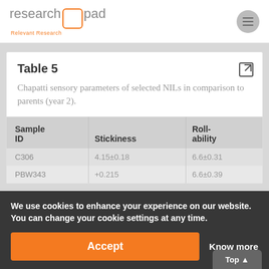research pad — Relevant Research
Table 5
Chapatti sensory parameters of selected NILs in comparison to parents (year 2).
| Sample ID | Stickiness | Roll-ability |
| --- | --- | --- |
| C306 | 4.15±0.18 | 6.6±0.31 |
| PBW343 | +0.215 | 6.6±0.39 |
We use cookies to enhance your experience on our website. You can change your cookie settings at any time.